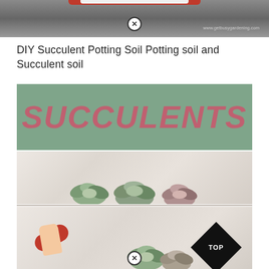[Figure (photo): Top portion of a photo showing a red-rimmed white pot/bowl on dark gravel background, partially cropped. Has www.getbusygardening.com watermark and a close/X button overlay.]
DIY Succulent Potting Soil Potting soil and Succulent soil
[Figure (illustration): Green sage-colored banner with large bold italic pink/rose text reading SUCCULENTS]
[Figure (photo): Photo of succulent plants arranged on a white marble surface, viewed from above.]
[Figure (photo): Photo of a hand holding a red hose near succulent plants on a marble surface, with a black diamond TOP navigation button in the bottom right corner and a close/X button overlay at the bottom center.]